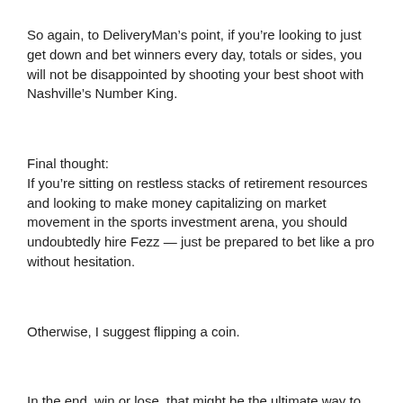So again, to DeliveryMan’s point, if you’re looking to just get down and bet winners every day, totals or sides, you will not be disappointed by shooting your best shoot with Nashville’s Number King.
Final thought:
If you’re sitting on restless stacks of retirement resources and looking to make money capitalizing on market movement in the sports investment arena, you should undoubtedly hire Fezz — just be prepared to bet like a pro without hesitation.
Otherwise, I suggest flipping a coin.
In the end, win or lose, that might be the ultimate way to decide everything.